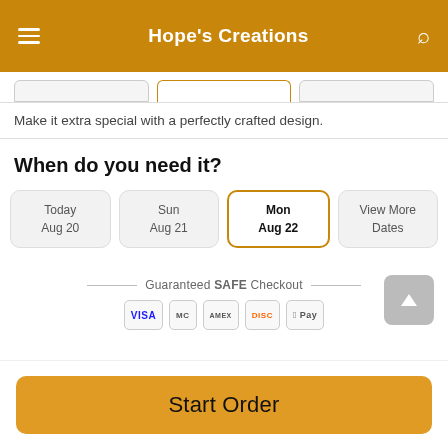Hope's Creations
Make it extra special with a perfectly crafted design.
When do you need it?
Today Aug 20
Sun Aug 21
Mon Aug 22
View More Dates
Guaranteed SAFE Checkout
Start Order